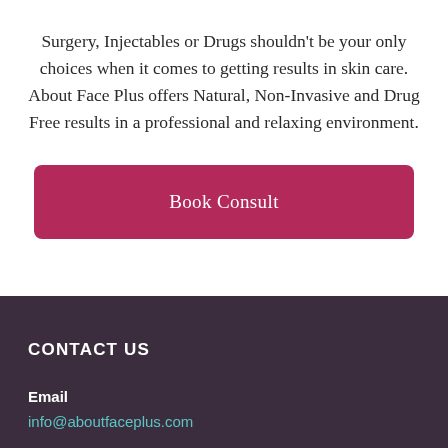Surgery, Injectables or Drugs shouldn't be your only choices when it comes to getting results in skin care. About Face Plus offers Natural, Non-Invasive and Drug Free results in a professional and relaxing environment.
Book Consult
CONTACT US
Email
info@aboutfaceplus.com